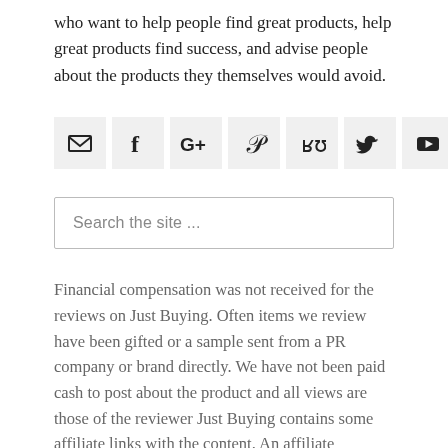who want to help people find great products, help great products find success, and advise people about the products they themselves would avoid.
[Figure (infographic): Row of 7 social media icon buttons on light grey backgrounds: email (envelope), Facebook, Google+, Pinterest, StumbleUpon, Twitter, YouTube]
Search the site ...
Financial compensation was not received for the reviews on Just Buying. Often items we review have been gifted or a sample sent from a PR company or brand directly. We have not been paid cash to post about the product and all views are those of the reviewer Just Buying contains some affiliate links with the content. An affiliate